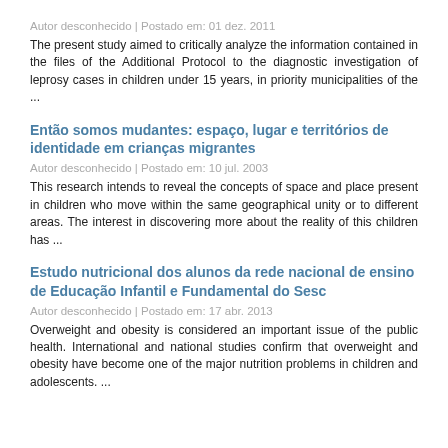Autor desconhecido | Postado em: 01 dez. 2011
The present study aimed to critically analyze the information contained in the files of the Additional Protocol to the diagnostic investigation of leprosy cases in children under 15 years, in priority municipalities of the ...
Então somos mudantes: espaço, lugar e territórios de identidade em crianças migrantes
Autor desconhecido | Postado em: 10 jul. 2003
This research intends to reveal the concepts of space and place present in children who move within the same geographical unity or to different areas. The interest in discovering more about the reality of this children has ...
Estudo nutricional dos alunos da rede nacional de ensino de Educação Infantil e Fundamental do Sesc
Autor desconhecido | Postado em: 17 abr. 2013
Overweight and obesity is considered an important issue of the public health. International and national studies confirm that overweight and obesity have become one of the major nutrition problems in children and adolescents. ...